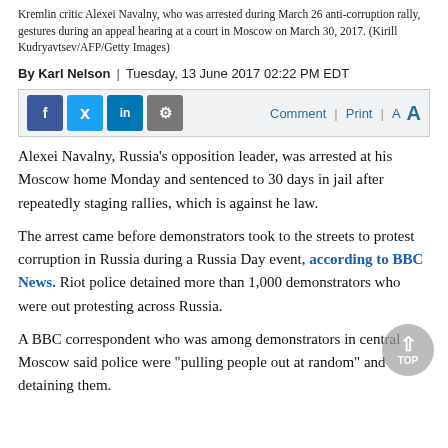Kremlin critic Alexei Navalny, who was arrested during March 26 anti-corruption rally, gestures during an appeal hearing at a court in Moscow on March 30, 2017. (Kirill Kudryavtsev/AFP/Getty Images)
By Karl Nelson  |  Tuesday, 13 June 2017 02:22 PM EDT
[Figure (screenshot): Social media sharing toolbar with Facebook, Twitter, LinkedIn, and share icons on the left; Comment, Print, and font size controls (A A) on the right]
Alexei Navalny, Russia's opposition leader, was arrested at his Moscow home Monday and sentenced to 30 days in jail after repeatedly staging rallies, which is against he law.
The arrest came before demonstrators took to the streets to protest corruption in Russia during a Russia Day event, according to BBC News. Riot police detained more than 1,000 demonstrators who were out protesting across Russia.
A BBC correspondent who was among demonstrators in central Moscow said police were "pulling people out at random" and detaining them.